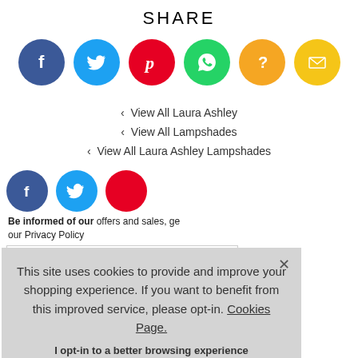SHARE
[Figure (infographic): Six social share icon circles: Facebook (blue), Twitter (light blue), Pinterest (red), WhatsApp (green), Unknown/Question (gold), Email (yellow)]
View All Laura Ashley
View All Lampshades
View All Laura Ashley Lampshades
[Figure (infographic): Partial social share icon circles at bottom: Facebook, Twitter, and partially visible third icon]
Be informed of our offers and sales, ge our Privacy Policy
Enter Email
To see how we Policy
This site uses cookies to provide and improve your shopping experience. If you want to benefit from this improved service, please opt-in. Cookies Page.

I opt-in to a better browsing experience

ACCEPT COOKIES